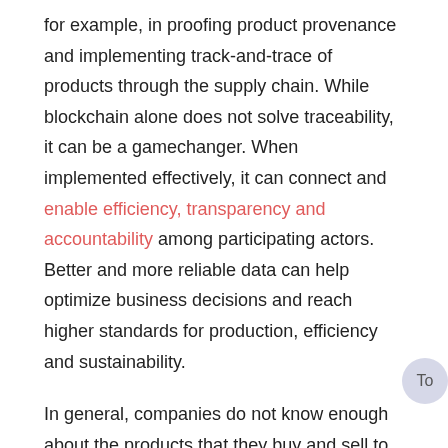for example, in proofing product provenance and implementing track-and-trace of products through the supply chain. While blockchain alone does not solve traceability, it can be a gamechanger. When implemented effectively, it can connect and enable efficiency, transparency and accountability among participating actors. Better and more reliable data can help optimize business decisions and reach higher standards for production, efficiency and sustainability.

In general, companies do not know enough about the products that they buy and sell to navigate the many complex challenges facing today's global supply chains (e.g., safe, sustainable and ethical). Some companies are realizing the business value of traceability for